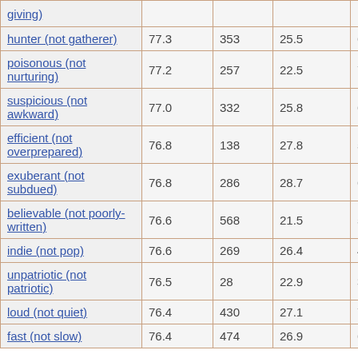|  |  |  |  |  |
| --- | --- | --- | --- | --- |
| giving) |  |  |  |  |
| hunter (not gatherer) | 77.3 | 353 | 25.5 | 63 |
| poisonous (not nurturing) | 77.2 | 257 | 22.5 | 71 |
| suspicious (not awkward) | 77.0 | 332 | 25.8 | 68 |
| efficient (not overprepared) | 76.8 | 138 | 27.8 | 57 |
| exuberant (not subdued) | 76.8 | 286 | 28.7 | 61 |
| believable (not poorly-written) | 76.6 | 568 | 21.5 | 57 |
| indie (not pop) | 76.6 | 269 | 26.4 | 44 |
| unpatriotic (not patriotic) | 76.5 | 28 | 22.9 | 346 |
| loud (not quiet) | 76.4 | 430 | 27.1 | 78 |
| fast (not slow) | 76.4 | 474 | 26.9 | 61 |